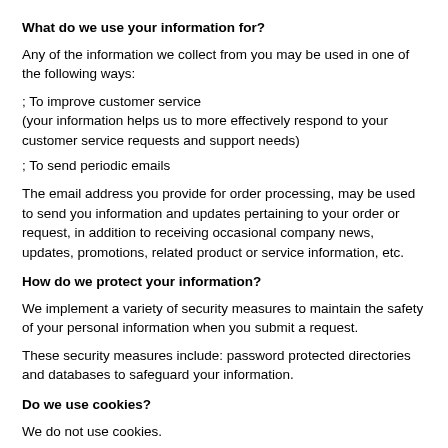What do we use your information for?
Any of the information we collect from you may be used in one of the following ways:
; To improve customer service
(your information helps us to more effectively respond to your customer service requests and support needs)
; To send periodic emails
The email address you provide for order processing, may be used to send you information and updates pertaining to your order or request, in addition to receiving occasional company news, updates, promotions, related product or service information, etc.
How do we protect your information?
We implement a variety of security measures to maintain the safety of your personal information when you submit a request.
These security measures include: password protected directories and databases to safeguard your information.
Do we use cookies?
We do not use cookies.
Do we disclose any information to outside parties?